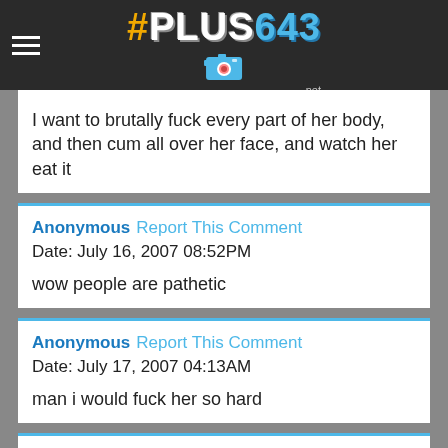#PLUS643
I want to brutally fuck every part of her body, and then cum all over her face, and watch her eat it
Anonymous Report This Comment
Date: July 16, 2007 08:52PM

wow people are pathetic
Anonymous Report This Comment
Date: July 17, 2007 04:13AM

man i would fuck her so hard
Anonymous Report This Comment
Date: July 18, 2007 07:05AM